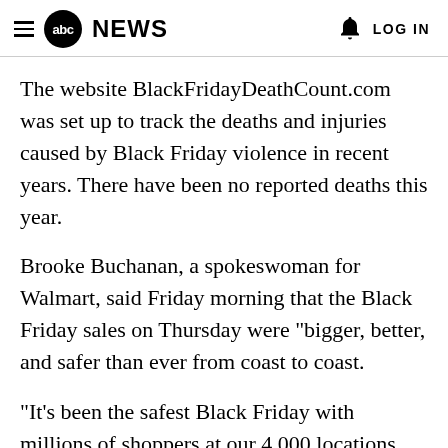abc NEWS   LOG IN
The website BlackFridayDeathCount.com was set up to track the deaths and injuries caused by Black Friday violence in recent years. There have been no reported deaths this year.
Brooke Buchanan, a spokeswoman for Walmart, said Friday morning that the Black Friday sales on Thursday were "bigger, better, and safer than ever from coast to coast.
"It's been the safest Black Friday with millions of shoppers at our 4,000 locations across the country. There were some isolated incidents that were resolved quickly through the help of